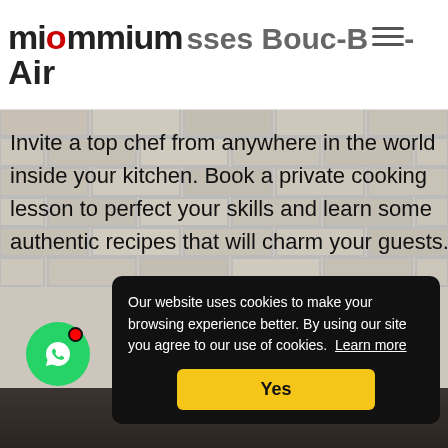miommium - Cooking Classes Bouc-Bel-Air
Invite a top chef from anywhere in the world inside your kitchen. Book a private cooking lesson to perfect your skills and learn some authentic recipes that will charm your guests.
Our website uses cookies to make your browsing experience better. By using our site you agree to our use of cookies. Learn more
Yes